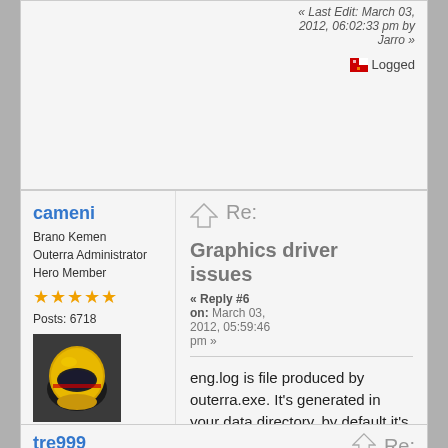« Last Edit: March 03, 2012, 06:02:33 pm by Jarro »
Logged
cameni
Brano Kemen
Outerra Administrator
Hero Member
Posts: 6718
[Figure (photo): User avatar showing a person in a yellow helmet]
No sense of urgency.
[Figure (illustration): Globe/world icon]
Re:
Graphics driver issues
« Reply #6 on: March 03, 2012, 05:59:46 pm »
eng.log is file produced by outerra.exe. It's generated in your data directory, by default it's your home dir \outerra\eng.log
Logged
tre999
Re: